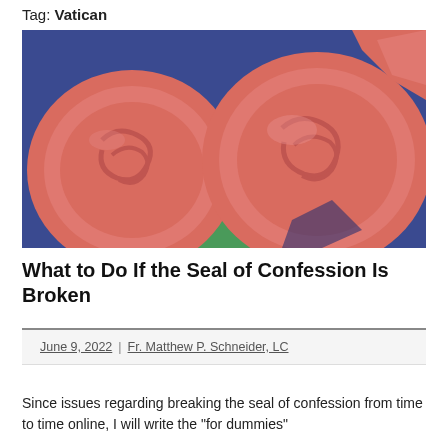Tag: Vatican
[Figure (photo): Close-up photo of broken red wax seals on a blue background with a green triangle visible, decorative swirling patterns embossed on the wax discs]
What to Do If the Seal of Confession Is Broken
June 9, 2022 | Fr. Matthew P. Schneider, LC
Since issues regarding breaking the seal of confession from time to time online, I will write the "for dummies"